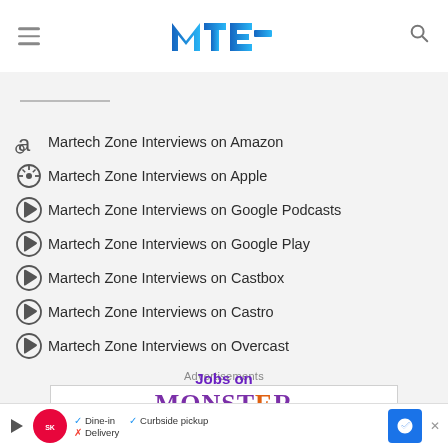[Figure (logo): MTE (Make Tech Easier) logo in blue gradient]
Martech Zone Interviews on Amazon
Martech Zone Interviews on Apple
Martech Zone Interviews on Google Podcasts
Martech Zone Interviews on Google Play
Martech Zone Interviews on Castbox
Martech Zone Interviews on Castro
Martech Zone Interviews on Overcast
Advertisements
[Figure (illustration): Jobs on Monster advertisement banner]